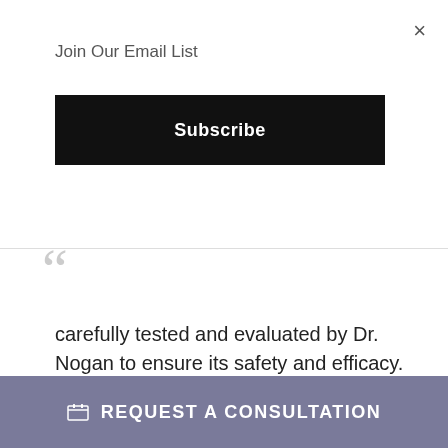Join Our Email List
×
Subscribe
carefully tested and evaluated by Dr. Nogan to ensure its safety and efficacy. We are proud to provide education, excellent skin care and facial plastic surgery in Central Ohio.
Stephen Nogan MD
REQUEST A CONSULTATION